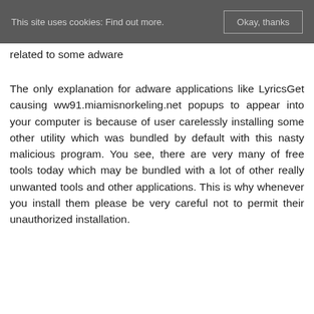This site uses cookies: Find out more. Okay, thanks
related to some adware
The only explanation for adware applications like LyricsGet causing ww91.miamisnorkeling.net popups to appear into your computer is because of user carelessly installing some other utility which was bundled by default with this nasty malicious program. You see, there are very many of free tools today which may be bundled with a lot of other really unwanted tools and other applications. This is why whenever you install them please be very careful not to permit their unauthorized installation.